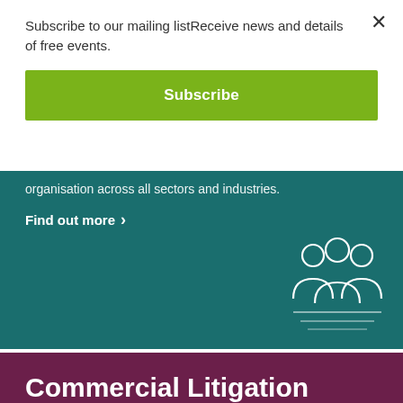Subscribe to our mailing listReceive news and details of free events.
Subscribe
organisation across all sectors and industries.
Find out more >
Commercial Litigation
We understand that clients get in touch when they find themselves in a difficult situation and need our help. Navigating complex disputes can be a distraction and we understand the